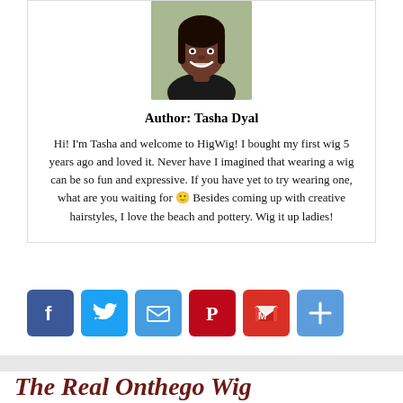[Figure (photo): Headshot photo of author Tasha Dyal, a young woman smiling, dark hair, against a light outdoor background.]
Author: Tasha Dyal
Hi! I'm Tasha and welcome to HigWig! I bought my first wig 5 years ago and loved it. Never have I imagined that wearing a wig can be so fun and expressive. If you have yet to try wearing one, what are you waiting for 😊 Besides coming up with creative hairstyles, I love the beach and pottery. Wig it up ladies!
[Figure (infographic): Social share buttons row: Facebook (blue), Twitter (light blue), Email (blue), Pinterest (dark red), Gmail (red), More/Share (blue).]
The Real Onthego Wig